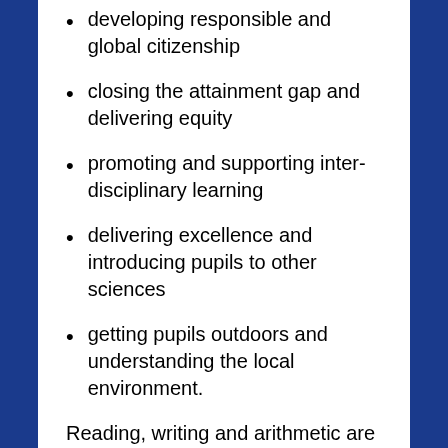developing responsible and global citizenship
closing the attainment gap and delivering equity
promoting and supporting inter-disciplinary learning
delivering excellence and introducing pupils to other sciences
getting pupils outdoors and understanding the local environment.
Reading, writing and arithmetic are ‘pure’ skills, but through Geography we learn how to stitch them together and how to make them relevant to everyday life.  We have